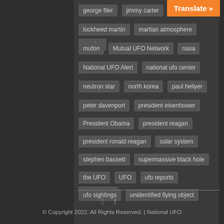Translate »
george filer
jimmy carter
life on mars
lockheed martin
martian atmosphere
mexico
mufon
Mutual UFO Network
nasa
National UFO Alert
national ufo center
neutron star
north korea
paul hellyer
peter davenport
president eisenhower
President Obama
president reagan
president ronald reagan
solar system
stephen bassett
supermassive black hole
the UFO
UFO
ufo reports
ufo sighting
ufo sightings
unidentified flying object
unidentified flying objects
video
William Puckett
youtube
© Copyright 2022, All Rights Reserved. | National UFO